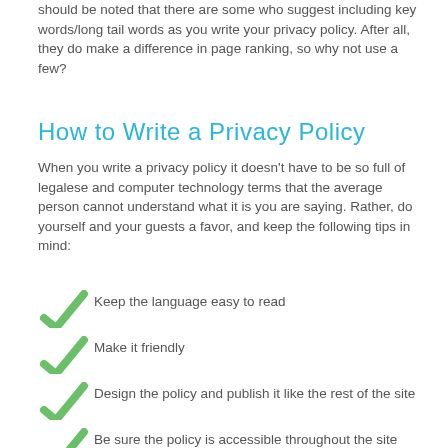should be noted that there are some who suggest including key words/long tail words as you write your privacy policy. After all, they do make a difference in page ranking, so why not use a few?
How to Write a Privacy Policy
When you write a privacy policy it doesn't have to be so full of legalese and computer technology terms that the average person cannot understand what it is you are saying. Rather, do yourself and your guests a favor, and keep the following tips in mind:
Keep the language easy to read
Make it friendly
Design the policy and publish it like the rest of the site
Be sure the policy is accessible throughout the site